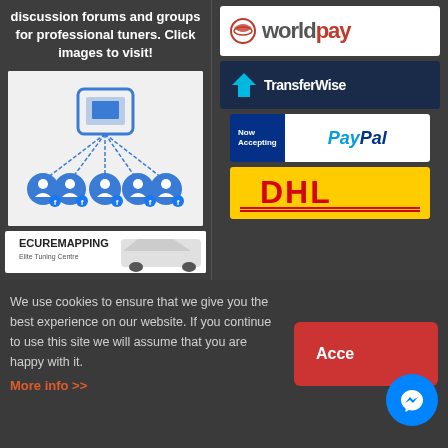discussion forums and groups for professional tuners. Click images to visit!
[Figure (illustration): Forum groups graphic showing connected Facebook-style group icons with a central ECU/tuning device]
[Figure (logo): ECURemapping.com logo with BMW car]
[Figure (logo): Worldpay payment logo]
[Figure (logo): TransferWise payment logo]
[Figure (logo): PayPal - Now Accepting PayPal logo]
[Figure (logo): DHL shipping logo]
We use cookies to ensure that we give you the best experience on our website. If you continue to use this site we will assume that you are happy with it.
More info >>
[Figure (illustration): Accept button (red) and Facebook Messenger chat button (blue circle)]